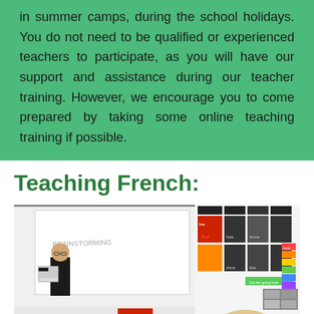in summer camps, during the school holidays. You do not need to be qualified or experienced teachers to participate, as you will have our support and assistance during our teacher training. However, we encourage you to come prepared by taking some online teaching training if possible.
Teaching French:
[Figure (photo): A classroom scene showing a teacher at the front holding a laptop/book near a whiteboard, with students seated with their backs to the camera. Colorful educational posters are visible on the walls. A red sign reads STAND SPEAK SHOW UP FOR SOMETHING.]